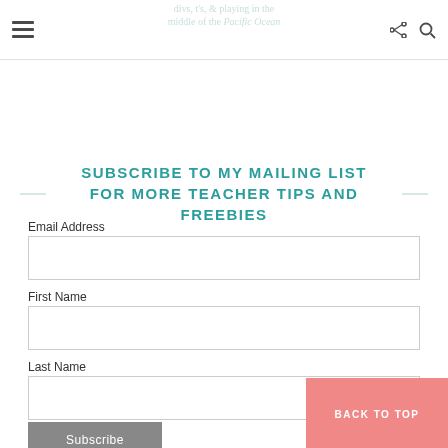divs, t's, & playing in the middle of the Pacific Ocean
SUBSCRIBE TO MY MAILING LIST FOR MORE TEACHER TIPS AND FREEBIES
Email Address
First Name
Last Name
BACK TO TOP
Subscribe